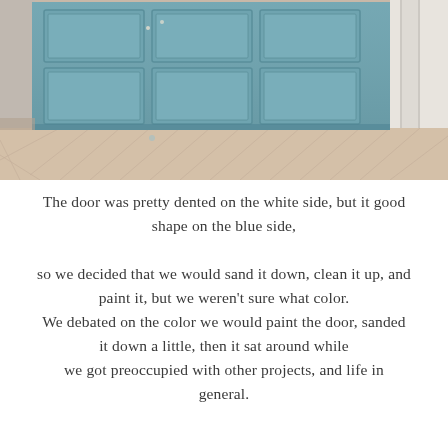[Figure (photo): A large teal/blue painted raised-panel door lying on a herringbone-pattern stone or tile floor. The door shows multiple rectangular panels in a grid arrangement. The floor has a warm beige/terracotta tone.]
The door was pretty dented on the white side, but it good shape on the blue side, so we decided that we would sand it down, clean it up, and paint it, but we weren't sure what color. We debated on the color we would paint the door, sanded it down a little, then it sat around while we got preoccupied with other projects, and life in general.